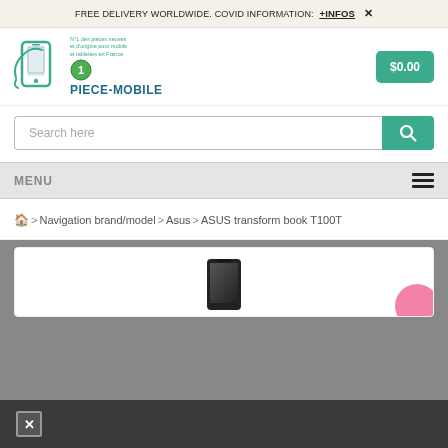FREE DELIVERY WORLDWIDE. COVID INFORMATION: +INFOS ✕
[Figure (logo): Piece-Mobile logo with phone icon, N°1 badge, tagline in French, and brand name PIECE-MOBILE in teal/blue]
$0.00
Search here
MENU
🏠 > Navigation brand/model > Asus > ASUS transform book T100T
[Figure (photo): Small black smartphone/tablet product image]
✕